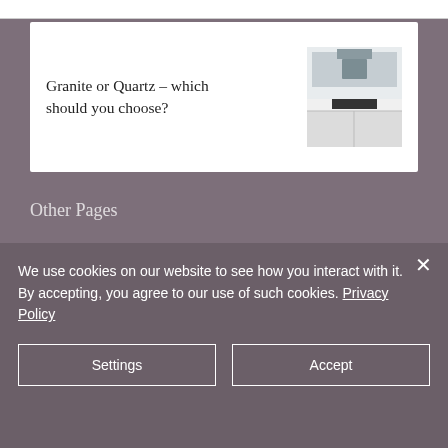[Figure (photo): Card with text 'Granite or Quartz – which should you choose?' and a kitchen countertop image on the right]
Granite or Quartz – which should you choose?
Other Pages
Home
About
Reviews
Tiling
Slabs
We use cookies on our website to see how you interact with it. By accepting, you agree to our use of such cookies. Privacy Policy
Settings
Accept